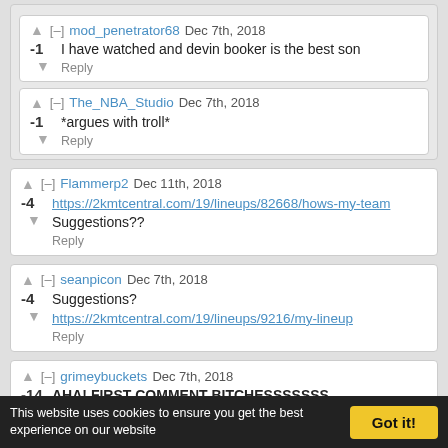mod_penetrator68 Dec 7th, 2018 | -1 | I have watched and devin booker is the best son | Reply
The_NBA_Studio Dec 7th, 2018 | -1 | *argues with troll* | Reply
Flammerp2 Dec 11th, 2018 | -4 | https://2kmtcentral.com/19/lineups/82668/hows-my-team Suggestions?? | Reply
seanpicon Dec 7th, 2018 | -4 | Suggestions? https://2kmtcentral.com/19/lineups/9216/my-lineup | Reply
grimeybuckets Dec 7th, 2018 | -14 | AHA! FIRST COMMENT BITCHESSSSSSS | Reply
This website uses cookies to ensure you get the best experience on our website